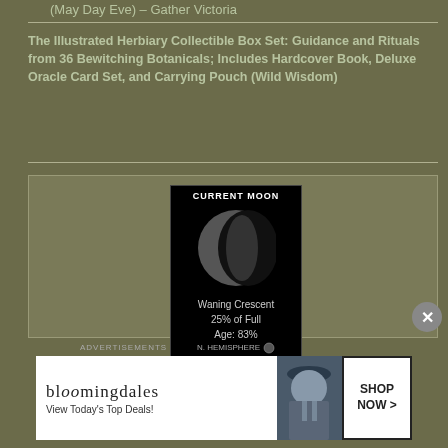(May Day Eve) – Gather Victoria
The Illustrated Herbiary Collectible Box Set: Guidance and Rituals from 36 Bewitching Botanicals; Includes Hardcover Book, Deluxe Oracle Card Set, and Carrying Pouch (Wild Wisdom)
[Figure (other): Current Moon phase widget showing Waning Crescent, 25% of Full, Age: 83%, N. Hemisphere]
[Figure (other): Bloomingdales advertisement banner: View Today's Top Deals! SHOP NOW > with woman in blue hat]